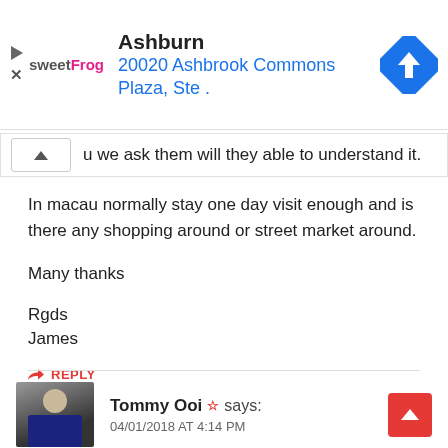[Figure (screenshot): sweetFrog advertisement banner showing Ashburn location at 20020 Ashbrook Commons Plaza, Ste. with a blue navigation diamond icon]
u we ask them will they able to understand it.
In macau normally stay one day visit enough and is there any shopping around or street market around.

Many thanks

Rgds
James
REPLY
Tommy Ooi ☆ says:
04/01/2018 AT 4:14 PM